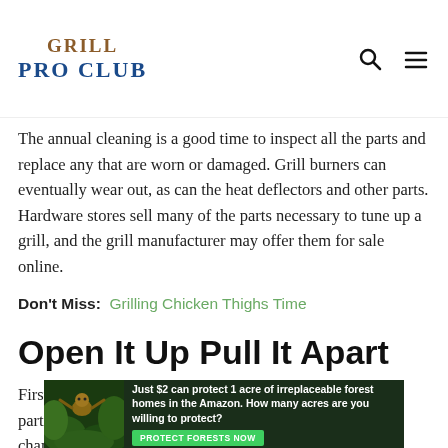GRILL PRO CLUB
The annual cleaning is a good time to inspect all the parts and replace any that are worn or damaged. Grill burners can eventually wear out, as can the heat deflectors and other parts. Hardware stores sell many of the parts necessary to tune up a grill, and the grill manufacturer may offer them for sale online.
Don't Miss: Grilling Chicken Thighs Time
Open It Up Pull It Apart
First, you'll need to open the grill and remove its various parts. This way, you'll be able to access the main grill chamber.
[Figure (other): Advertisement banner: forest/Amazon conservation ad with sloth image. Text: 'Just $2 can protect 1 acre of irreplaceable forest homes in the Amazon. How many acres are you willing to protect?' with green 'PROTECT FORESTS NOW' button.]